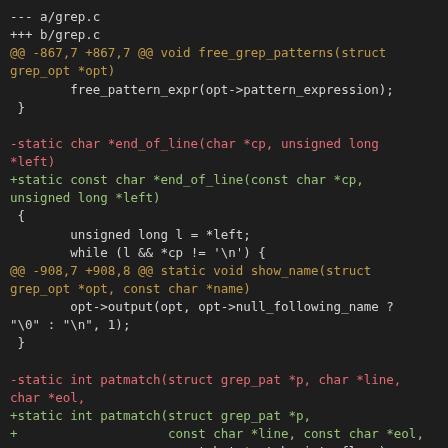--- a/grep.c
+++ b/grep.c
@@ -867,7 +867,7 @@ void free_grep_patterns(struct grep_opt *opt)
        free_pattern_expr(opt->pattern_expression);
 }

-static char *end_of_line(char *cp, unsigned long *left)
+static const char *end_of_line(const char *cp,
unsigned long *left)
 {
        unsigned long l = *left;
        while (l && *cp != '\n') {
@@ -908,7 +908,8 @@ static void show_name(struct grep_opt *opt, const char *name)
        opt->output(opt, opt->null_following_name ?
"\0" : "\n", 1);
 }

-static int patmatch(struct grep_pat *p, char *line,
char *eol,
+static int patmatch(struct grep_pat *p,
+                    const char *line, const char *eol,
                    regmatch_t *match, int eflags)
 {
        int hit;
@@ -922,9 +923,9 @@ static int patmatch(struct grep_pat *p, char *line, char *eol,
        return hit;